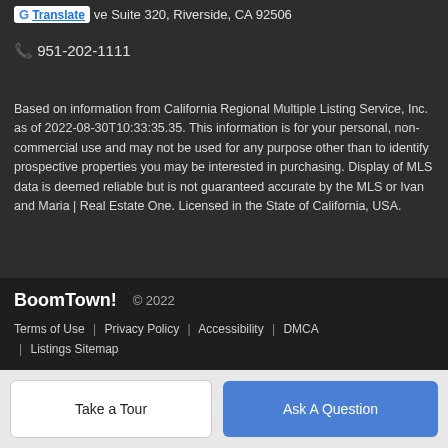ve Suite 320, Riverside, CA 92506
951-202-1111
Based on information from California Regional Multiple Listing Service, Inc. as of 2022-08-30T10:33:35.35. This information is for your personal, non-commercial use and may not be used for any purpose other than to identify prospective properties you may be interested in purchasing. Display of MLS data is deemed reliable but is not guaranteed accurate by the MLS or Ivan and Maria | Real Estate One. Licensed in the State of California, USA.
BoomTown! © 2022
Terms of Use | Privacy Policy | Accessibility | DMCA | Listings Sitemap
Take a Tour
Ask A Question